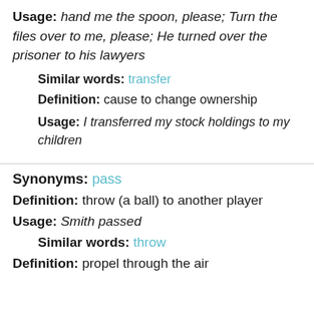Usage: hand me the spoon, please; Turn the files over to me, please; He turned over the prisoner to his lawyers
Similar words: transfer
Definition: cause to change ownership
Usage: I transferred my stock holdings to my children
Synonyms: pass
Definition: throw (a ball) to another player
Usage: Smith passed
Similar words: throw
Definition: propel through the air